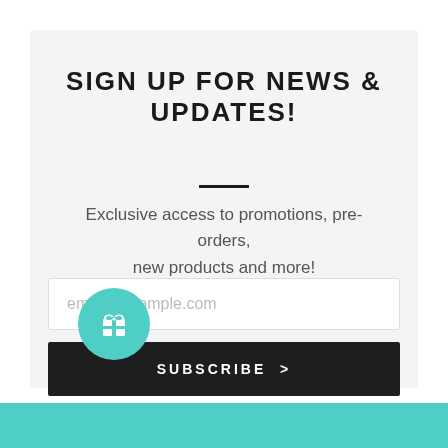SIGN UP FOR NEWS & UPDATES!
Exclusive access to promotions, pre-orders, new products and more!
email@example.com
SUBSCRIBE >